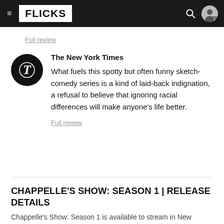FLICKS
Full review
The New York Times
What fuels this spotty but often funny sketch-comedy series is a kind of laid-back indignation, a refusal to believe that ignoring racial differences will make anyone's life better.
Full review
CHAPPELLE'S SHOW: SEASON 1 | RELEASE DETAILS
Chappelle's Show: Season 1 is available to stream in New